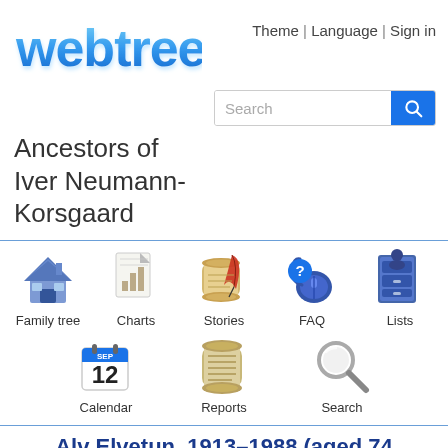[Figure (logo): webtrees logo in blue 3D bubbly text]
Theme | Language | Sign in
[Figure (other): Search bar with blue search button]
Ancestors of Iver Neumann-Korsgaard
[Figure (infographic): Navigation icons: Family tree (house icon), Charts (bar chart icon), Stories (scroll with quill icon), FAQ (mouse with question mark icon), Lists (filing cabinet icon), Calendar (Sep 12 calendar icon), Reports (scroll icon), Search (magnifying glass icon)]
Alv Elvetun, 1913–1988 (aged 74